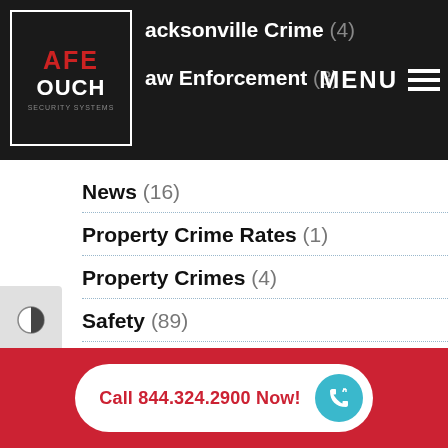[Figure (logo): Safe Touch Security Systems logo — white bordered box on dark background, red and white stylized S/T lettering]
Jacksonville Crime (4)
Law Enforcement (3)
News (16)
Property Crime Rates (1)
Property Crimes (4)
Safety (89)
Security Cameras (25)
Security Systems (86)
smart home security (9)
Call 844.324.2900 Now!